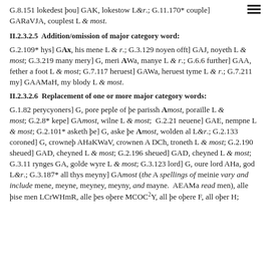G.8.151 lokedest þou] GAK, lokestow L&r.; G.11.170* couple] GARaVJA, couplest L & most.
II.2.3.2.5  Addition/omission of major category word:
G.2.109* hys] GAx, his mene L & r.; G.3.129 noyen offt] GAJ, noyeth L & most; G.3.219 many mery] G, meri AWa, manye L & r.; G.6.6 further] GAA, fether a foot L & most; G.7.117 heruest] GAWa, heruest tyme L & r.; G.7.211 my] GAAMaH, my blody L & most.
II.2.3.2.6  Replacement of one or more major category words:
G.1.82 perycyoners] G, pore peple of þe parissh Amost, poraille L & most; G.2.8* kepe] GAmost, wilne L & most; G.2.21 neuene] GAE, nempne L & most; G.2.101* asketh þe] G, aske þe Amost, wolden al L&r.; G.2.133 coroned] G, crowneþ AHaKWaV, crownen A DCh, troneth L & most; G.2.190 sheued] GAD, cheyned L & most; G.2.196 sheued] GAD, cheyned L & most; G.3.11 rynges GA, golde wyre L & most; G.3.123 lord] G, oure lord AHa, god L&r.; G.3.187* all thys meyny] GAmost (the A spellings of meinie vary and include mene, meyne, meyney, meyny, and mayne. AEAMa read men), alle þise men LCrWHmR, alle þes oþere MCOC²Y, all þe oþere F, all oþer H;